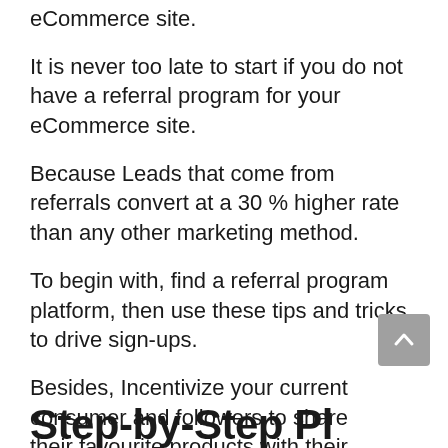eCommerce site.
It is never too late to start if you do not have a referral program for your eCommerce site.
Because Leads that come from referrals convert at a 30 % higher rate than any other marketing method.
To begin with, find a referral program platform, then use these tips and tricks to drive sign-ups.
Besides, Incentivize your current consumer and followers to share their favourite products with their friends and family.
Step-by-Step Pl...